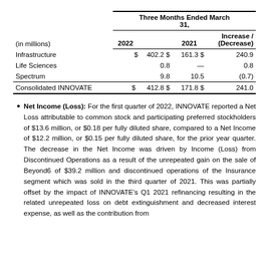| (in millions) | 2022 | 2021 | Increase / (Decrease) |
| --- | --- | --- | --- |
| Infrastructure | $ 402.2 | $ 161.3 | $ 240.9 |
| Life Sciences | 0.8 | — | 0.8 |
| Spectrum | 9.8 | 10.5 | (0.7) |
| Consolidated INNOVATE | $ 412.8 | $ 171.8 | $ 241.0 |
Net Income (Loss): For the first quarter of 2022, INNOVATE reported a Net Loss attributable to common stock and participating preferred stockholders of $13.6 million, or $0.18 per fully diluted share, compared to a Net Income of $12.2 million, or $0.15 per fully diluted share, for the prior year quarter. The decrease in the Net Income was driven by Income (Loss) from Discontinued Operations as a result of the unrepeated gain on the sale of Beyond6 of $39.2 million and discontinued operations of the Insurance segment which was sold in the third quarter of 2021. This was partially offset by the impact of INNOVATE's Q1 2021 refinancing resulting in the related unrepeated loss on debt extinguishment and decreased interest expense, as well as the contribution from